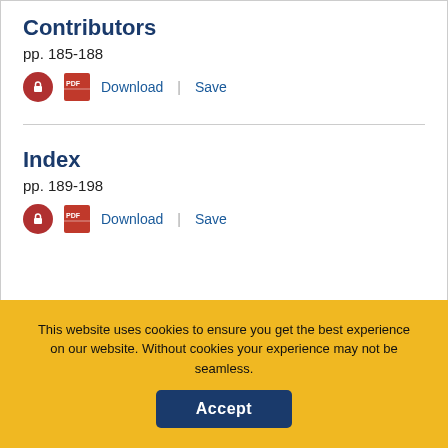Contributors
pp. 185-188
Download | Save
Index
pp. 189-198
Download | Save
Additional Information
This website uses cookies to ensure you get the best experience on our website. Without cookies your experience may not be seamless.
Accept